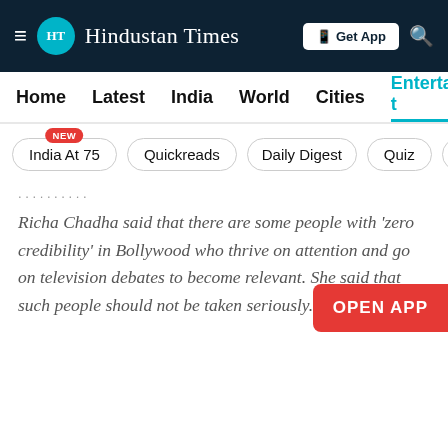HT Hindustan Times | Get App
Home | Latest | India | World | Cities | Entertainment
India At 75 NEW | Quickreads | Daily Digest | Quiz | V
Richa Chadha said that there are some people with 'zero credibility' in Bollywood who thrive on attention and go on television debates to become relevant. She said that such people should not be taken seriously.